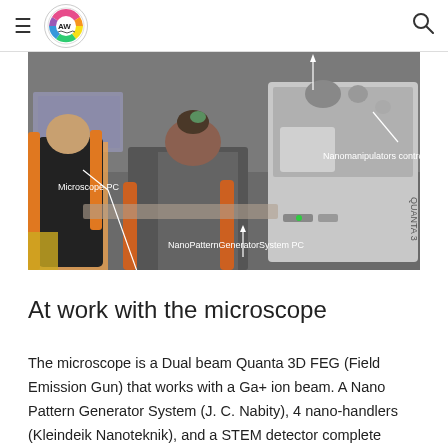≡  AW [logo]  🔍
[Figure (photo): Laboratory photo showing two people from behind seated at a workstation in front of a Quanta 3D FEG dual-beam microscope. White annotation lines and labels identify: 'Microscope PC' (left), 'Nanomanipulators control' (right), and 'NanoPatternGeneratorSystem PC' (center-bottom).]
At work with the microscope
The microscope is a Dual beam Quanta 3D FEG (Field Emission Gun) that works with a Ga+ ion beam. A Nano Pattern Generator System (J. C. Nabity), 4 nano-handlers (Kleindeik Nanoteknik), and a STEM detector complete